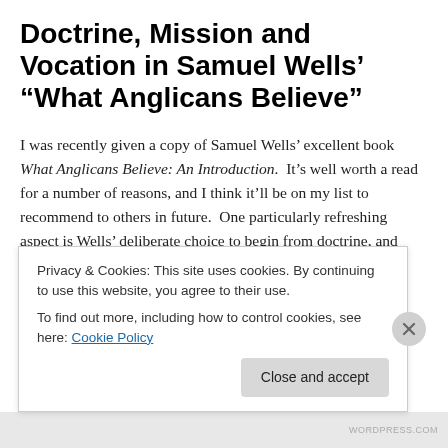Doctrine, Mission and Vocation in Samuel Wells’ “What Anglicans Believe”
I was recently given a copy of Samuel Wells’ excellent book What Anglicans Believe: An Introduction. It’s well worth a read for a number of reasons, and I think it’ll be on my list to recommend to others in future. One particularly refreshing aspect is Wells’ deliberate choice to begin from doctrine, and only end up at history. For historical
Privacy & Cookies: This site uses cookies. By continuing to use this website, you agree to their use.
To find out more, including how to control cookies, see here: Cookie Policy
Close and accept